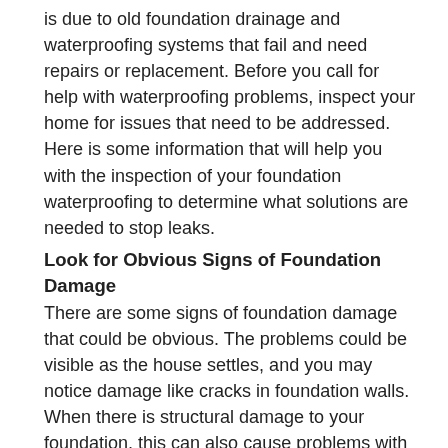is due to old foundation drainage and waterproofing systems that fail and need repairs or replacement. Before you call for help with waterproofing problems, inspect your home for issues that need to be addressed. Here is some information that will help you with the inspection of your foundation waterproofing to determine what solutions are needed to stop leaks.
Look for Obvious Signs of Foundation Damage
There are some signs of foundation damage that could be obvious. The problems could be visible as the house settles, and you may notice damage like cracks in foundation walls. When there is structural damage to your foundation, this can also cause problems with the waterproofing and may allow water to get into your home.
Test Foundation Drain Systems for Issues
The foundation drain lines (French drain systems) are an important part of the complete waterproofing design for your home. These systems help to divert water that